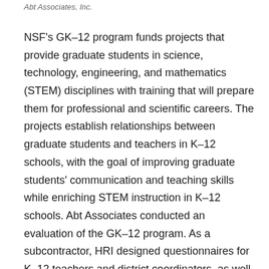Abt Associates, Inc.
NSF's GK–12 program funds projects that provide graduate students in science, technology, engineering, and mathematics (STEM) disciplines with training that will prepare them for professional and scientific careers. The projects establish relationships between graduate students and teachers in K–12 schools, with the goal of improving graduate students' communication and teaching skills while enriching STEM instruction in K–12 schools. Abt Associates conducted an evaluation of the GK–12 program. As a subcontractor, HRI designed questionnaires for K–12 teachers and district coordinators, as well as provided technical assistance on the overall